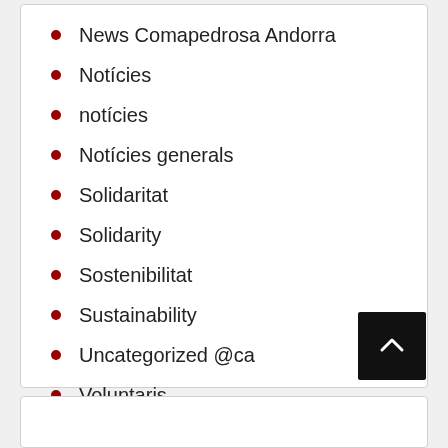News Comapedrosa Andorra
Notícies
notícies
Notícies generals
Solidaritat
Solidarity
Sostenibilitat
Sustainability
Uncategorized @ca
Voluntaris